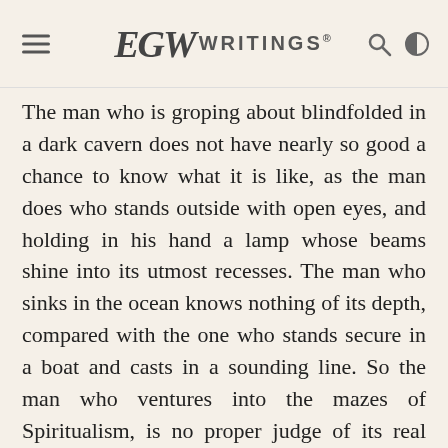EGW WRITINGS®
The man who is groping about blindfolded in a dark cavern does not have nearly so good a chance to know what it is like, as the man does who stands outside with open eyes, and holding in his hand a lamp whose beams shine into its utmost recesses. The man who sinks in the ocean knows nothing of its depth, compared with the one who stands secure in a boat and casts in a sounding line. So the man who ventures into the mazes of Spiritualism, is no proper judge of its real nature; while the man who holds in his hand the lamp of God's word can see all its terrible dangers,-dangers all the more terrible because they are so seductive. SITI June 12, 1884, page 361.12
We do not need to take poison in order to know its